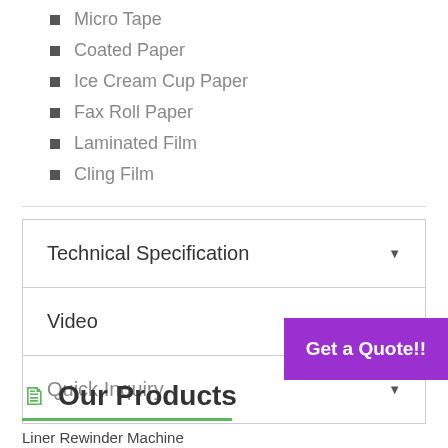Micro Tape
Coated Paper
Ice Cream Cup Paper
Fax Roll Paper
Laminated Film
Cling Film
Technical Specification
Video
Quick Inquiry
Get a Quote!!
Our Products
Liner Rewinder Machine